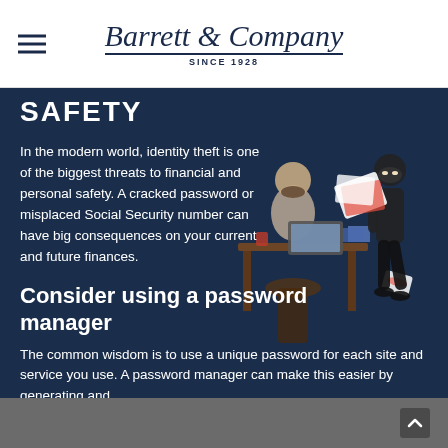Barrett & Company Since 1928
SAFETY
In the modern world, identity theft is one of the biggest threats to financial and personal safety. A cracked password or misplaced Social Security number can have big consequences on your current and future finances.
[Figure (illustration): Illustration of a person sitting at a desk with a computer and a thief stealing documents/papers in the background]
Consider using a password manager
The common wisdom is to use a unique password for each site and service you use. A password manager can make this easier by generating and